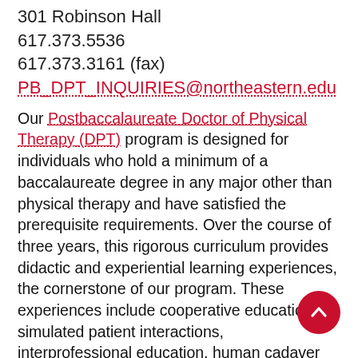301 Robinson Hall
617.373.5536
617.373.3161 (fax)
PB_DPT_INQUIRIES@northeastern.edu
Our Postbaccalaureate Doctor of Physical Therapy (DPT) program is designed for individuals who hold a minimum of a baccalaureate degree in any major other than physical therapy and have satisfied the prerequisite requirements. Over the course of three years, this rigorous curriculum provides didactic and experiential learning experiences, the cornerstone of our program. These experiences include cooperative education, simulated patient interactions, interprofessional education, human cadaver lab, engagement with consumer clients, service-learning, clinical research, and integrated and full-time clinical education experie…
The DPT program recognizes that becoming a physical